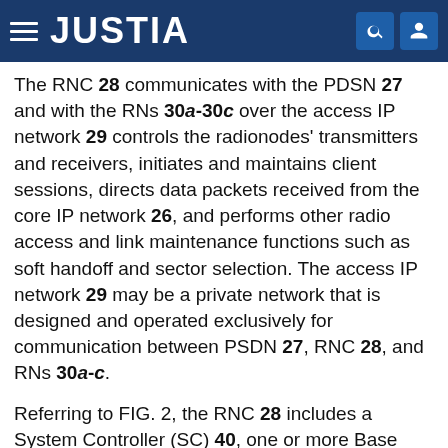JUSTIA
The RNC 28 communicates with the PDSN 27 and with the RNs 30a-30c over the access IP network 29 controls the radionodes' transmitters and receivers, initiates and maintains client sessions, directs data packets received from the core IP network 26, and performs other radio access and link maintenance functions such as soft handoff and sector selection. The access IP network 29 may be a private network that is designed and operated exclusively for communication between PSDN 27, RNC 28, and RNs 30a-c.
Referring to FIG. 2, the RNC 28 includes a System Controller (SC) 40, one or more Base Input/Output modules (BIO) 42, and one or more Radio Node Server Modules 46a-46c (collectively referred to as RNSMs 46) that are interconnected over a high-speed bus 44 such as a PCI, VMEbus, USB, ISA, or PXI bus or switched fabric